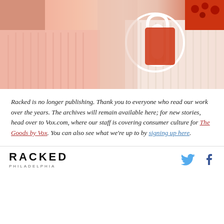[Figure (photo): Fashion photo showing person wearing pink/coral pleated skirt and red garment, with a white circular overlay element in upper right area]
Racked is no longer publishing. Thank you to everyone who read our work over the years. The archives will remain available here; for new stories, head over to Vox.com, where our staff is covering consumer culture for The Goods by Vox. You can also see what we're up to by signing up here.
RACKED PHILADELPHIA